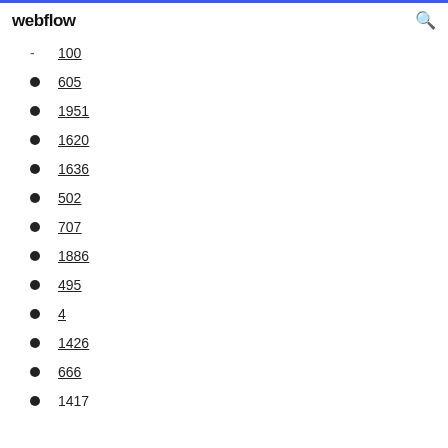webflow
100
605
1951
1620
1636
502
707
1886
495
4
1426
666
1417